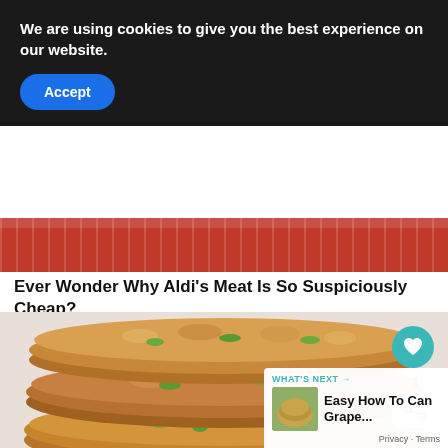We are using cookies to give you the best experience on our website.
Accept
[Figure (photo): Partial view of a reddish banner or header image at the top of a food article]
Ever Wonder Why Aldi's Meat Is So Suspiciously Cheap?
[Figure (photo): Stack of three golden-brown tuna or salmon patties/cakes with visible green herbs, stacked on top of each other]
1
WHAT'S NEXT → Easy How To Can Grape...
Privacy · Terms